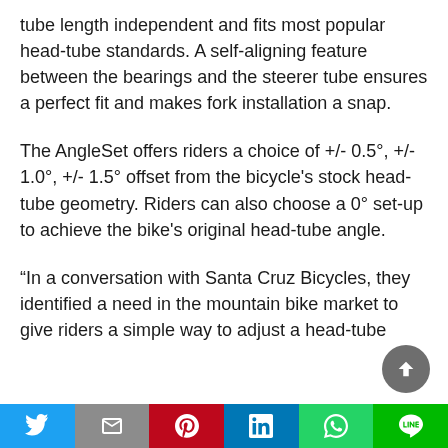tube length independent and fits most popular head-tube standards. A self-aligning feature between the bearings and the steerer tube ensures a perfect fit and makes fork installation a snap.
The AngleSet offers riders a choice of +/- 0.5°, +/- 1.0°, +/- 1.5° offset from the bicycle's stock head-tube geometry. Riders can also choose a 0° set-up to achieve the bike's original head-tube angle.
“In a conversation with Santa Cruz Bicycles, they identified a need in the mountain bike market to give riders a simple way to adjust a head-tube
[Figure (other): Social sharing bar with Twitter, Gmail, Pinterest, LinkedIn, WhatsApp, and LINE buttons]